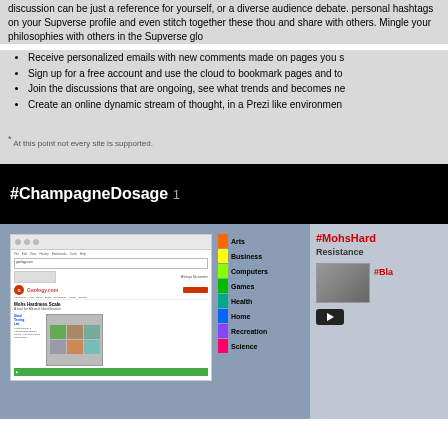discussion can be just a reference for yourself, or a diverse audience debate. personal hashtags on your Supverse profile and even stitch together these thoughts and share with others. Mingle your philosophies with others in the Supverse glo
Receive personalized emails with new comments made on pages you s
Sign up for a free account and use the cloud to bookmark pages and to
Join the discussions that are ongoing, see what trends and becomes ne
Create an online dynamic stream of thought, in a Prezi like environmen
* At this point not every site is supported.
#ChampagneDosage 1
[Figure (screenshot): Screenshot of geology.com Mohs Hardness Scale page shown inside a browser mockup with category panel showing Arts, Business, Computers, Games, Health, Home, Recreation, Science]
[Figure (screenshot): #MohsHardness Resistance section with thumbnail and #Bla text and play button]